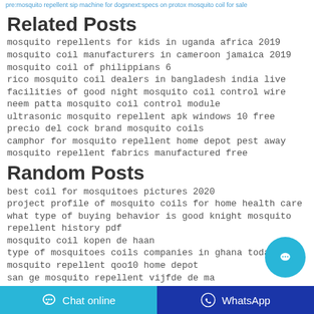pre:mosquito repellent sip machine for dogs next:specs on protox mosquito coil for sale
Related Posts
mosquito repellents for kids in uganda africa 2019
mosquito coil manufacturers in cameroon jamaica 2019
mosquito coil of philippians 6
rico mosquito coil dealers in bangladesh india live
facilities of good night mosquito coil control wire
neem patta mosquito coil control module
ultrasonic mosquito repellent apk windows 10 free
precio del cock brand mosquito coils
camphor for mosquito repellent home depot pest away
mosquito repellent fabrics manufactured free
Random Posts
best coil for mosquitoes pictures 2020
project profile of mosquito coils for home health care
what type of buying behavior is good knight mosquito repellent history pdf
mosquito coil kopen de haan
type of mosquitoes coils companies in ghana today news
mosquito repellent qoo10 home depot
san ge mosquito repellent vijfde de ma
electric mosquito repellent in egypt for sale
mosquito killer machine and liquid spray for home insecticides spray available in nigeria 2017 calendar